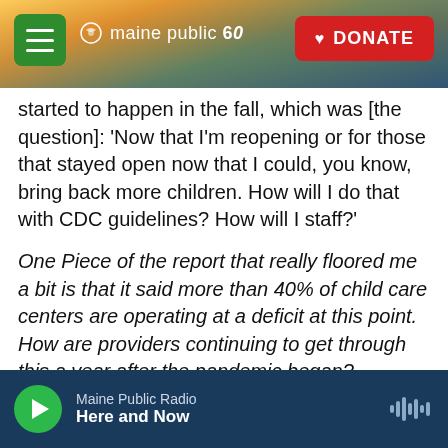[Figure (screenshot): Maine Public Radio website header with landscape photo (sunrise over hills/water), hamburger menu button (green), Maine Public 60 logo (white), and red DONATE button]
started to happen in the fall, which was [the question]: 'Now that I'm reopening or for those that stayed open now that I could, you know, bring back more children. How will I do that with CDC guidelines? How will I staff?'
One Piece of the report that really floored me a bit is that it said more than 40% of child care centers are operating at a deficit at this point. How are providers continuing to get through this a year after the pandemic began?
Yes, I think that was something that stuck out to me in this survey and in the data we collected
Maine Public Radio — Here and Now